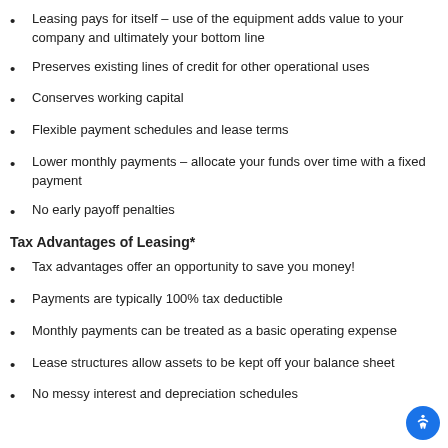Leasing pays for itself – use of the equipment adds value to your company and ultimately your bottom line
Preserves existing lines of credit for other operational uses
Conserves working capital
Flexible payment schedules and lease terms
Lower monthly payments – allocate your funds over time with a fixed payment
No early payoff penalties
Tax Advantages of Leasing*
Tax advantages offer an opportunity to save you money!
Payments are typically 100% tax deductible
Monthly payments can be treated as a basic operating expense
Lease structures allow assets to be kept off your balance sheet
No messy interest and depreciation schedules